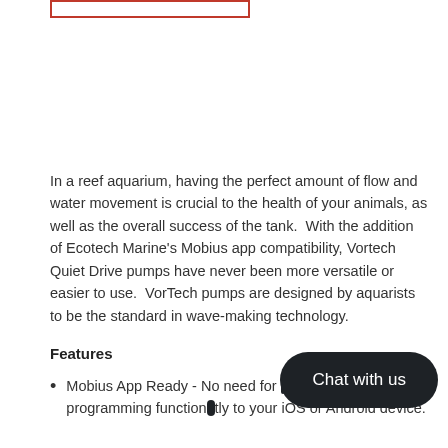[Figure (other): Red/orange outlined rectangle at top of page, partially visible]
In a reef aquarium, having the perfect amount of flow and water movement is crucial to the health of your animals, as well as the overall success of the tank.  With the addition of Ecotech Marine's Mobius app compatibility, Vortech Quiet Drive pumps have never been more versatile or easier to use.  VorTech pumps are designed by aquarists to be the standard in wave-making technology.
Features
Mobius App Ready - No need for [obscured] to get wireless programming function[obscured]tly to your iOS or Android device.